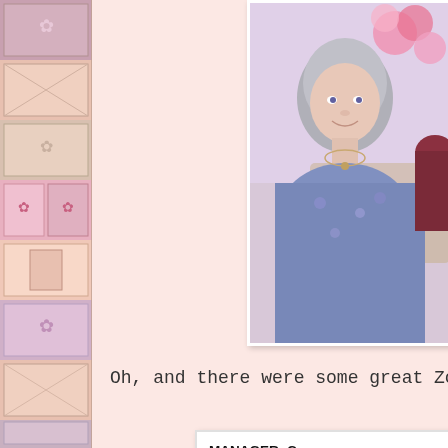[Figure (photo): Photo of a woman with gray/silver hair wearing a floral blue dress and necklace, seated in front of a floral background. Another person in a red/maroon hat is partially visible to the right.]
Oh, and there were some great Zoo...
[Figure (photo): A meme image showing text: 'MANAGER: Can every... their cameras on for... please? ME:' followed by a photo of a grumpy-looking fluffy gray cat with narrowed eyes against a blue background.]